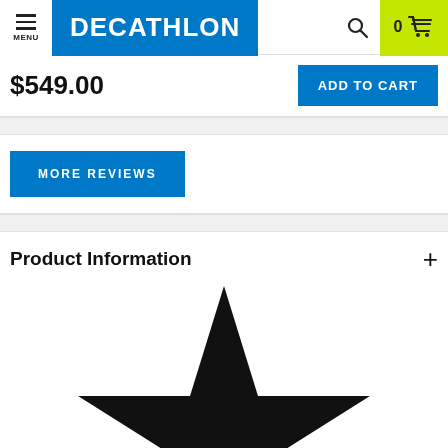MENU | DECATHLON | 0 cart
$549.00
ADD TO CART
MORE REVIEWS
Product Information
[Figure (illustration): Large black star shape, partially visible at bottom of page, cropped at edges]